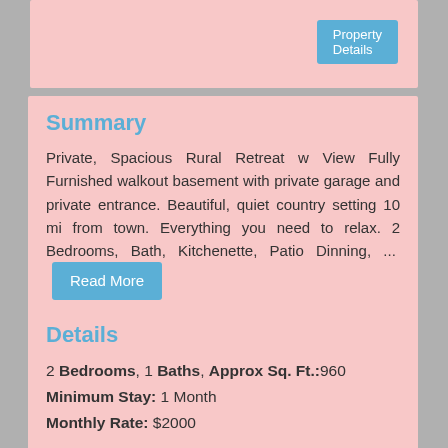Property Details
Summary
Private, Spacious Rural Retreat w View Fully Furnished walkout basement with private garage and private entrance. Beautiful, quiet country setting 10 mi from town. Everything you need to relax. 2 Bedrooms, Bath, Kitchenette, Patio Dinning, ... Read More
Details
2 Bedrooms, 1 Baths, Approx Sq. Ft.:960
Minimum Stay: 1 Month
Monthly Rate: $2000
More Details
Sponsored
LIVE CHAT